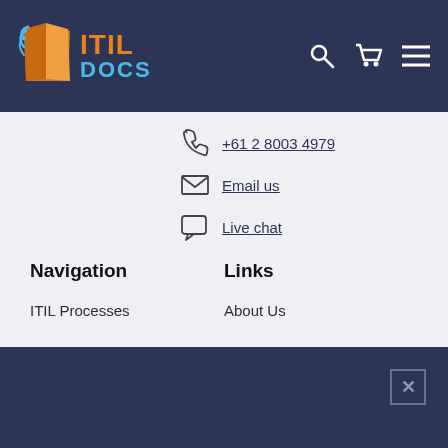ITIL DOCS
+61 2 8003 4979
Email us
Live chat
Navigation
Links
ITIL Processes
About Us
[Figure (screenshot): Dark navy blue panel with a close/dismiss button (X) in the upper right corner]